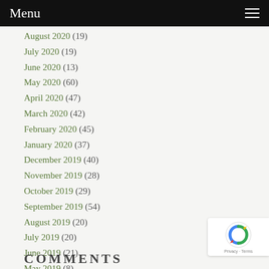Menu
August 2020 (19)
July 2020 (19)
June 2020 (13)
May 2020 (60)
April 2020 (47)
March 2020 (42)
February 2020 (45)
January 2020 (37)
December 2019 (40)
November 2019 (28)
October 2019 (29)
September 2019 (54)
August 2019 (20)
July 2019 (20)
June 2019 (21)
May 2019 (8)
COMMENTS